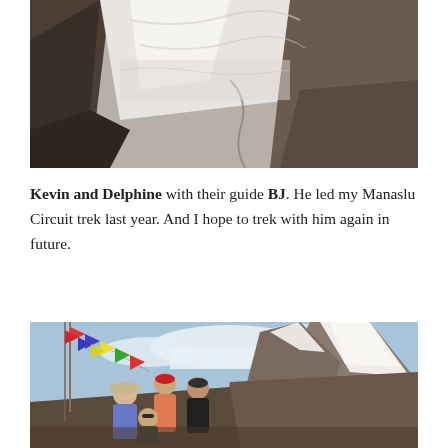[Figure (photo): Aerial or mountain pass view showing snow, ice, and rocky terrain with a winding path visible below]
Kevin and Delphine with their guide BJ. He led my Manaslu Circuit trek last year. And I hope to trek with him again in future.
[Figure (photo): Group of four trekkers (three adults and one crouching in front) posing with colorful prayer flags and snow-capped mountain peaks in the background, on the Manaslu Circuit trek]